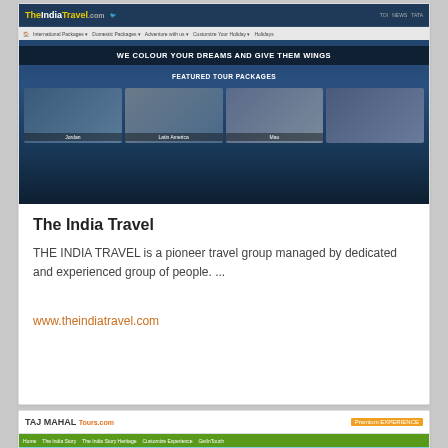[Figure (screenshot): Screenshot of TheIndiaTravel.com website showing logo, navigation bar, tagline 'WE COLOUR YOUR DREAMS AND GIVE THEM WINGS', featured tour packages section with images of Jordan, Latin America, and other destinations]
The India Travel
THE INDIA TRAVEL is a pioneer travel group managed by dedicated and experienced group of people. ...
www.theindiatravel.com
[Figure (screenshot): Screenshot of Taj Mahal Tours website showing logo, green navigation bar, and an image of the Taj Mahal monument]